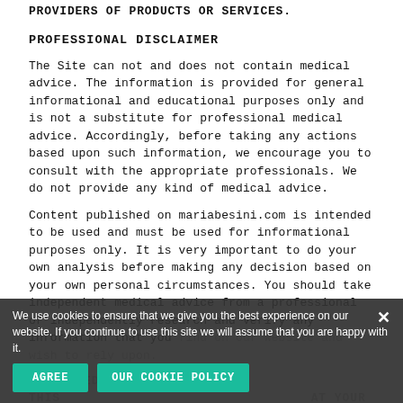PROVIDERS OF PRODUCTS OR SERVICES.
PROFESSIONAL DISCLAIMER
The Site can not and does not contain medical advice. The information is provided for general informational and educational purposes only and is not a substitute for professional medical advice. Accordingly, before taking any actions based upon such information, we encourage you to consult with the appropriate professionals. We do not provide any kind of medical advice.
Content published on mariabesini.com is intended to be used and must be used for informational purposes only. It is very important to do your own analysis before making any decision based on your own personal circumstances. You should take independent medical advice from a professional or independently research and verify any information that you find on our Website and wish to rely upon.
CONTAINED ON THIS ... AT YOUR OWN RISK
AFFILIATES ...
We use cookies to ensure that we give you the best experience on our website. If you continue to use this site we will assume that you are happy with it.